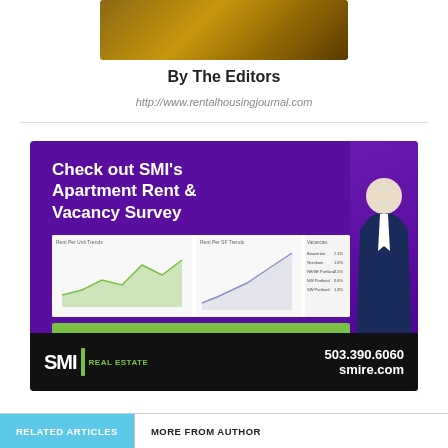[Figure (photo): Author photo - dark background image at top of card]
By The Editors
http://www.rentalhousingjournal.com
[Figure (infographic): SMI Real Estate advertisement: 'Check out SMI's Apartment Rent & Vacancy Survey' with charts showing vacancy rates of 2.1%, 1.6%, 2.5%, 0.6%, 1.3%, phone 503.390.6060, smire.com]
RELATED ARTICLES
MORE FROM AUTHOR